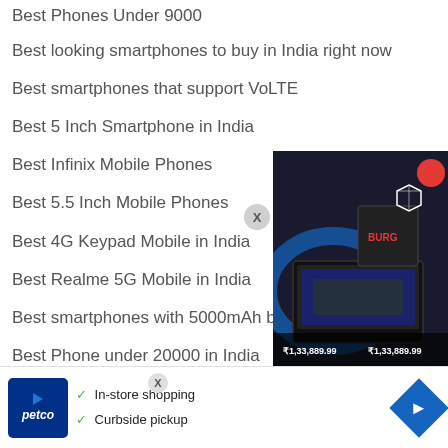Best Phones Under 9000
Best looking smartphones to buy in India right now
Best smartphones that support VoLTE
Best 5 Inch Smartphone in India
Best Infinix Mobile Phones
Best 5.5 Inch Mobile Phones
Best 4G Keypad Mobile in India
Best Realme 5G Mobile in India
Best smartphones with 5000mAh battery in
Best Phone under 20000 in India
Best On Plus Mobile Phones in India
Best 5G
[Figure (screenshot): Advertisement overlay with Petco logo, checkmarks for In-store shopping and Curbside pickup, navigation icon, and a product image showing a gaming laptop/TV box with prices ₹1,33,889.99 displayed on a dark background. A close button X is visible.]